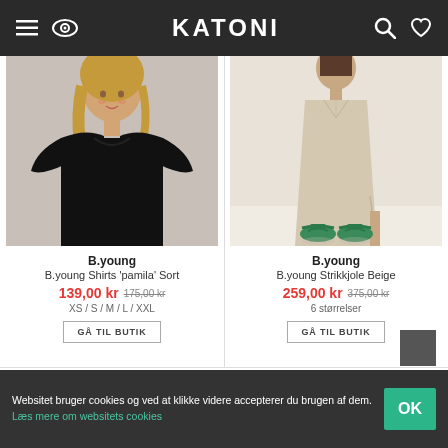KATONI
[Figure (photo): Woman wearing a black short-sleeve t-shirt, B.young Shirts pamila Sort]
[Figure (photo): Woman wearing a beige sleeveless midi dress with green sandals, B.young Strikkjole Beige]
B.young
B.young Shirts 'pamila' Sort
139,00 kr  175,00 kr
XS / S / M / L / XXL
B.young
B.young Strikkjole Beige
259,00 kr  375,00 kr
6 størrelser
GÅ TIL BUTIK
GÅ TIL BUTIK
Websitet bruger cookies og ved at klikke videre accepterer du brugen af dem. Læs mere om websitets cookies